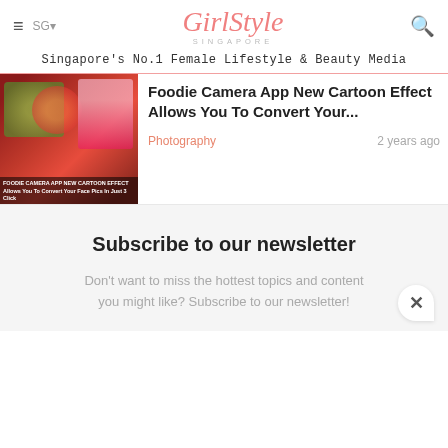GirlStyle SINGAPORE — Singapore's No.1 Female Lifestyle & Beauty Media
Foodie Camera App New Cartoon Effect Allows You To Convert Your...
Photography   2 years ago
Subscribe to our newsletter
Don't want to miss the hottest topics and content you might like? Subscribe to our newsletter!